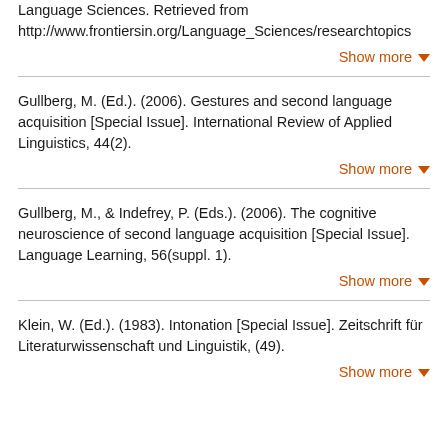Language Sciences. Retrieved from http://www.frontiersin.org/Language_Sciences/researchtopics
Show more
Gullberg, M. (Ed.). (2006). Gestures and second language acquisition [Special Issue]. International Review of Applied Linguistics, 44(2).
Show more
Gullberg, M., & Indefrey, P. (Eds.). (2006). The cognitive neuroscience of second language acquisition [Special Issue]. Language Learning, 56(suppl. 1).
Show more
Klein, W. (Ed.). (1983). Intonation [Special Issue]. Zeitschrift für Literaturwissenschaft und Linguistik, (49).
Show more